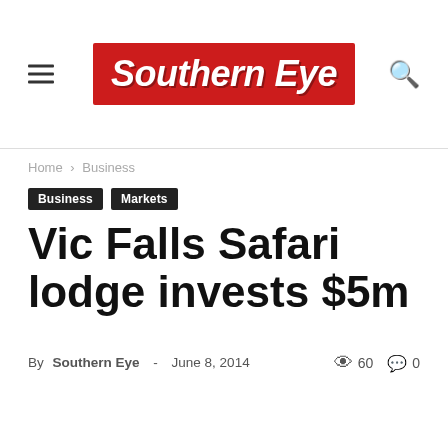Southern Eye
Home › Business
Business
Markets
Vic Falls Safari lodge invests $5m
By Southern Eye - June 8, 2014   60   0